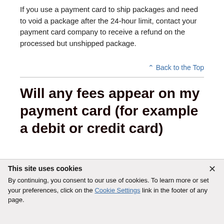If you use a payment card to ship packages and need to void a package after the 24-hour limit, contact your payment card company to receive a refund on the processed but unshipped package.
⌃ Back to the Top
Will any fees appear on my payment card (for example a debit or credit card)
This site uses cookies
By continuing, you consent to our use of cookies. To learn more or set your preferences, click on the Cookie Settings link in the footer of any page.